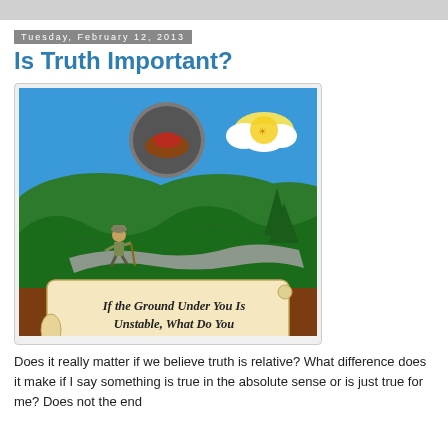Tuesday, February 12, 2013
Is Truth Important?
[Figure (illustration): A cartoon illustration showing a soldier/hiker walking on a winding unstable path through green wavy hills under a blue sky with a sun and clouds. Below is a brown underground section with a scroll reading: 'If the Ground Under You Is Unstable, What Do You Stand On? John 14:6']
Does it really matter if we believe truth is relative? What difference does it make if I say something is true in the absolute sense or is just true for me? Does not the end